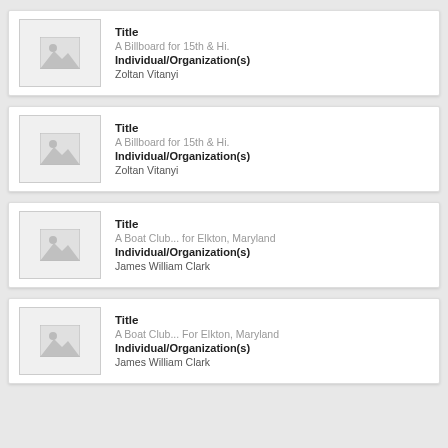[Figure (illustration): Placeholder image thumbnail with mountain/photo icon]
Title
A Billboard for 15th & Hi.
Individual/Organization(s)
Zoltan Vitanyi
[Figure (illustration): Placeholder image thumbnail with mountain/photo icon]
Title
A Billboard for 15th & Hi.
Individual/Organization(s)
Zoltan Vitanyi
[Figure (illustration): Placeholder image thumbnail with mountain/photo icon]
Title
A Boat Club... for Elkton, Maryland
Individual/Organization(s)
James William Clark
[Figure (illustration): Placeholder image thumbnail with mountain/photo icon]
Title
A Boat Club... For Elkton, Maryland
Individual/Organization(s)
James William Clark